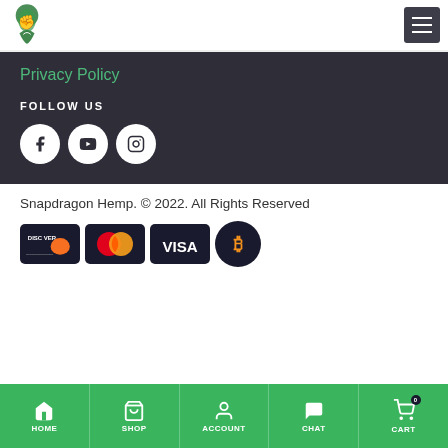Snapdragon Hemp logo and navigation menu
Privacy Policy
FOLLOW US
[Figure (illustration): Social media icons: Facebook, YouTube, Instagram as white circles on dark background]
Snapdragon Hemp. © 2022. All Rights Reserved
[Figure (illustration): Payment method icons: Discover, Mastercard, Visa, Bitcoin]
HOME SHOP ACCOUNT CHAT CART